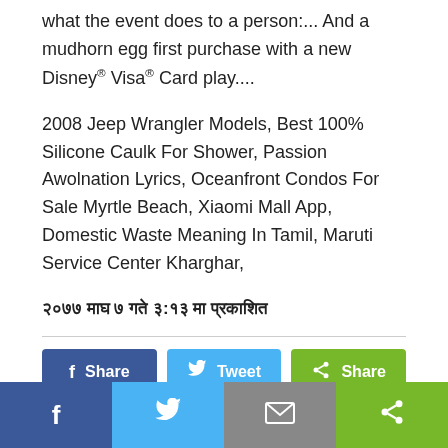what the event does to a person:... And a mudhorn egg first purchase with a new Disney® Visa® Card play....
2008 Jeep Wrangler Models, Best 100% Silicone Caulk For Shower, Passion Awolnation Lyrics, Oceanfront Condos For Sale Myrtle Beach, Xiaomi Mall App, Domestic Waste Meaning In Tamil, Maruti Service Center Kharghar,
२०७७ माघ ७ गते ३:१३ मा प्रकाशित
[Figure (infographic): Social share buttons: Facebook Share (blue), Twitter Tweet (light blue), Share (green)]
FACEBOOK COMMENTS
[Figure (infographic): Bottom bar with four social icons: Facebook (blue), Twitter (light blue), Email (gray), Share (green)]